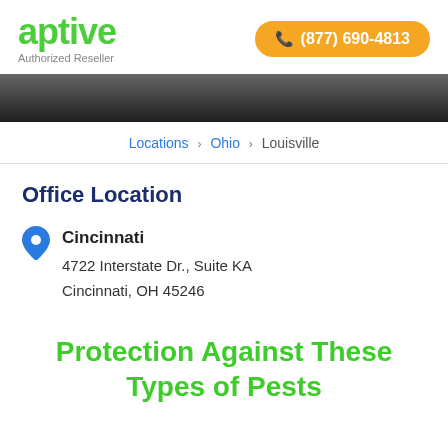[Figure (logo): Aptive logo - green text with 'Authorized Reseller' subtitle]
[Figure (infographic): Orange phone button with (877) 690-4813]
[Figure (photo): Dark hero banner image]
Locations > Ohio > Louisville
Office Location
Cincinnati
4722 Interstate Dr., Suite K
Cincinnati, OH 45246
Protection Against These Types of Pests